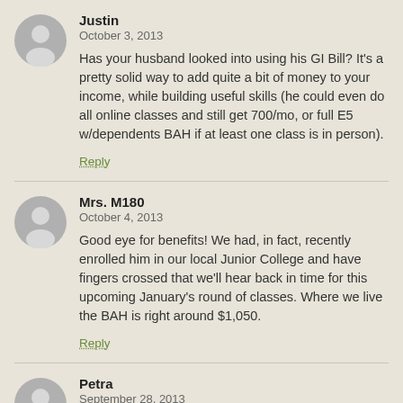Justin
October 3, 2013
Has your husband looked into using his GI Bill? It's a pretty solid way to add quite a bit of money to your income, while building useful skills (he could even do all online classes and still get 700/mo, or full E5 w/dependents BAH if at least one class is in person).
Reply
Mrs. M180
October 4, 2013
Good eye for benefits! We had, in fact, recently enrolled him in our local Junior College and have fingers crossed that we'll hear back in time for this upcoming January's round of classes. Where we live the BAH is right around $1,050.
Reply
Petra
September 28, 2013